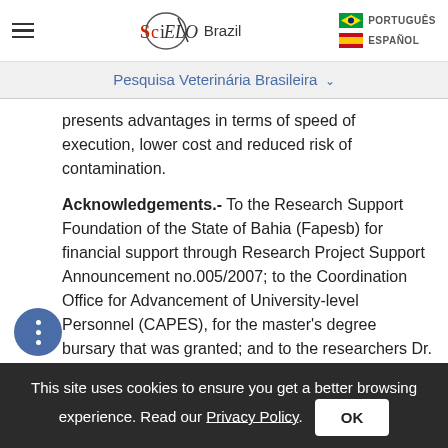SciELO Brazil — PORTUGUÊS / ESPAÑOL
Pesquisa Veterinária Brasileira
presents advantages in terms of speed of execution, lower cost and reduced risk of contamination.
Acknowledgements.- To the Research Support Foundation of the State of Bahia (Fapesb) for financial support through Research Project Support Announcement no.005/2007; to the Coordination Office for Advancement of University-level Personnel (CAPES), for the master's degree bursary that was granted; and to the researchers Dr. Sérgio da Silva of the Federal University of
This site uses cookies to ensure you get a better browsing experience. Read our Privacy Policy. OK